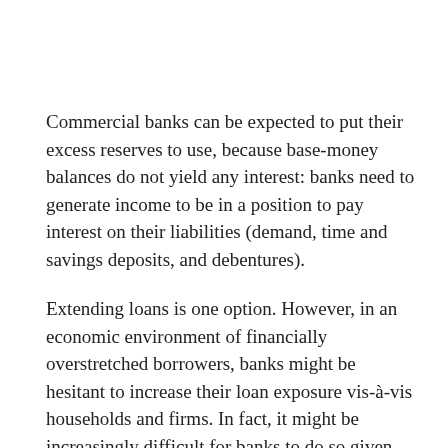Commercial banks can be expected to put their excess reserves to use, because base-money balances do not yield any interest: banks need to generate income to be in a position to pay interest on their liabilities (demand, time and savings deposits, and debentures).
Extending loans is one option. However, in an economic environment of financially overstretched borrowers, banks might be hesitant to increase their loan exposure vis-à-vis households and firms. In fact, it might be increasingly difficult for banks to do so given that equity capital has become increasingly scarce and costly.
So commercial banks may wish to monetize government debt, as the latter does not require putting equity capital to use. The government then spends the additionally created money stock